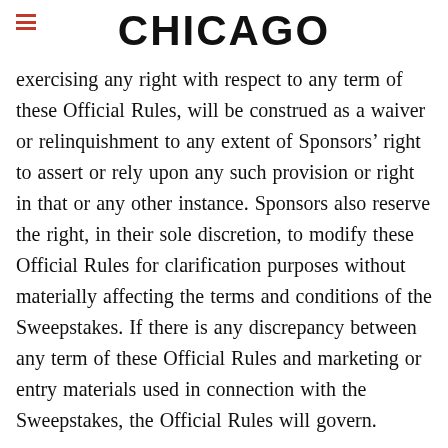CHICAGO
exercising any right with respect to any term of these Official Rules, will be construed as a waiver or relinquishment to any extent of Sponsors’ right to assert or rely upon any such provision or right in that or any other instance. Sponsors also reserve the right, in their sole discretion, to modify these Official Rules for clarification purposes without materially affecting the terms and conditions of the Sweepstakes. If there is any discrepancy between any term of these Official Rules and marketing or entry materials used in connection with the Sweepstakes, the Official Rules will govern.

By accepting the prize, winners agree, where legal,